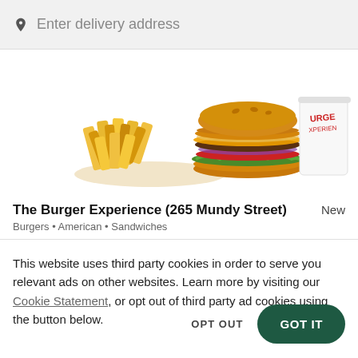Enter delivery address
[Figure (photo): A burger with crinkle-cut fries and a drink cup labeled 'Burger Experience' on a white background]
The Burger Experience (265 Mundy Street)
Burgers • American • Sandwiches
This website uses third party cookies in order to serve you relevant ads on other websites. Learn more by visiting our Cookie Statement, or opt out of third party ad cookies using the button below.
OPT OUT
GOT IT